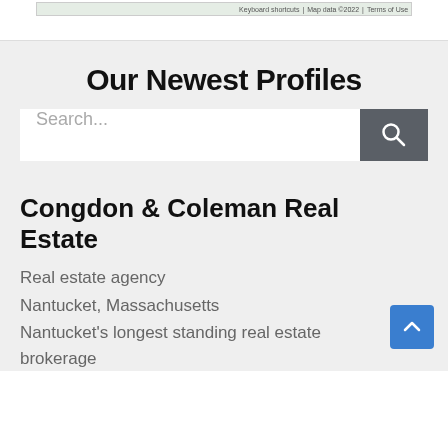[Figure (screenshot): Top of page showing map bar with 'Keyboard shortcuts | Map data ©2022 | Terms of Use' text, partially visible]
Our Newest Profiles
Search...
Congdon & Coleman Real Estate
Real estate agency
Nantucket, Massachusetts
Nantucket's longest standing real estate brokerage